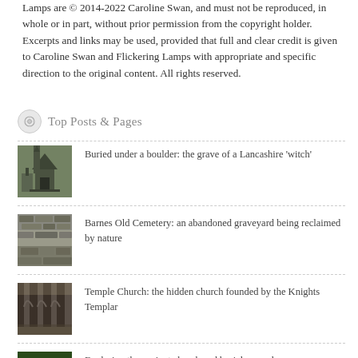Lamps are © 2014-2022 Caroline Swan, and must not be reproduced, in whole or in part, without prior permission from the copyright holder.  Excerpts and links may be used, provided that full and clear credit is given to Caroline Swan and Flickering Lamps with appropriate and specific direction to the original content.  All rights reserved.
Top Posts & Pages
Buried under a boulder: the grave of a Lancashire 'witch'
Barnes Old Cemetery: an abandoned graveyard being reclaimed by nature
Temple Church: the hidden church founded by the Knights Templar
Exploring the ancient church and burial ground